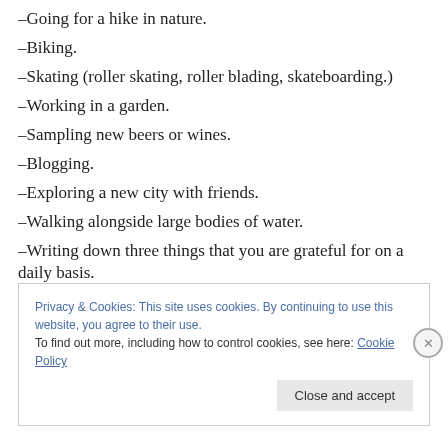–Going for a hike in nature.
–Biking.
–Skating (roller skating, roller blading, skateboarding.)
–Working in a garden.
–Sampling new beers or wines.
–Blogging.
–Exploring a new city with friends.
–Walking alongside large bodies of water.
–Writing down three things that you are grateful for on a daily basis.
–Learning a new skill.
Privacy & Cookies: This site uses cookies. By continuing to use this website, you agree to their use. To find out more, including how to control cookies, see here: Cookie Policy
Close and accept